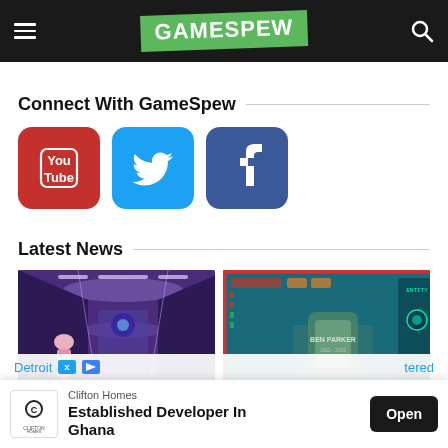GAMESPEW
Connect With GameSpew
[Figure (logo): YouTube, Twitter, and Facebook social media icons]
Latest News
[Figure (photo): Screenshot of a sci-fi game with a purple-lit corridor and a female character]
[Figure (photo): Screenshot of a top-down game with a teal background and red border]
Detroit
tered
Clifton Homes – Established Developer In Ghana – Open